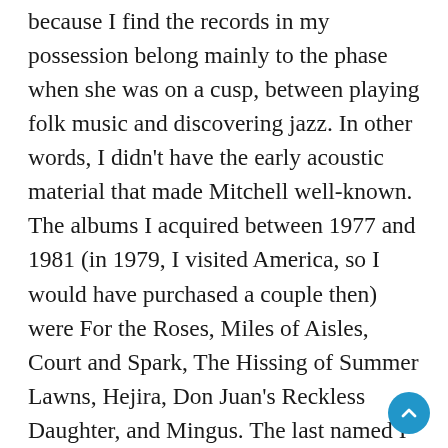because I find the records in my possession belong mainly to the phase when she was on a cusp, between playing folk music and discovering jazz. In other words, I didn't have the early acoustic material that made Mitchell well-known. The albums I acquired between 1977 and 1981 (in 1979, I visited America, so I would have purchased a couple then) were For the Roses, Miles of Aisles, Court and Spark, The Hissing of Summer Lawns, Hejira, Don Juan's Reckless Daughter, and Mingus. The last named I may well have